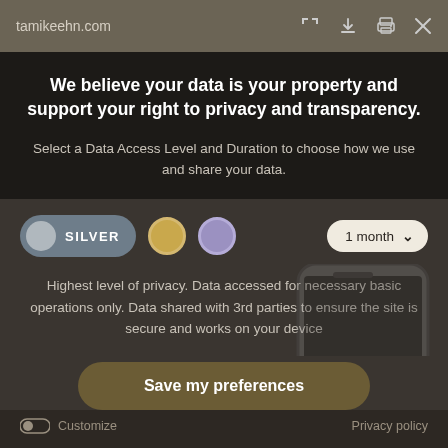tamikeehn.com
We believe your data is your property and support your right to privacy and transparency.
Select a Data Access Level and Duration to choose how we use and share your data.
[Figure (infographic): Privacy level selector with SILVER toggle button (active), gold circle, purple circle, and 1 month dropdown]
Highest level of privacy. Data accessed for necessary basic operations only. Data shared with 3rd parties to ensure the site is secure and works on your device
Save my preferences
Customize  Privacy policy